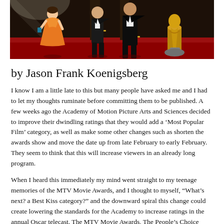[Figure (illustration): Illustrated scene of people in formal attire on a red carpet with an Oscar statuette on the right side. Dark background with spotlight effects.]
by Jason Frank Koenigsberg
I know I am a little late to this but many people have asked me and I had to let my thoughts ruminate before committing them to be published. A few weeks ago the Academy of Motion Picture Arts and Sciences decided to improve their dwindling ratings that they would add a ‘Most Popular Film’ category, as well as make some other changes such as shorten the awards show and move the date up from late February to early February. They seem to think that this will increase viewers in an already long program.
When I heard this immediately my mind went straight to my teenage memories of the MTV Movie Awards, and I thought to myself, “What’s next? a Best Kiss category?” and the downward spiral this change could create lowering the standards for the Academy to increase ratings in the annual Oscar telecast. The MTV Movie Awards, The People’s Choice Awards, and even the